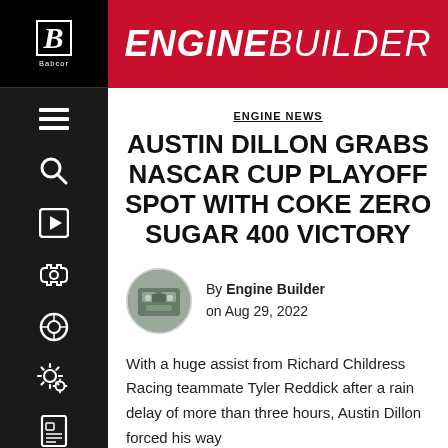ENGINE BUILDER
ENGINE NEWS
AUSTIN DILLON GRABS NASCAR CUP PLAYOFF SPOT WITH COKE ZERO SUGAR 400 VICTORY
By Engine Builder on Aug 29, 2022
With a huge assist from Richard Childress Racing teammate Tyler Reddick after a rain delay of more than three hours, Austin Dillon forced his way